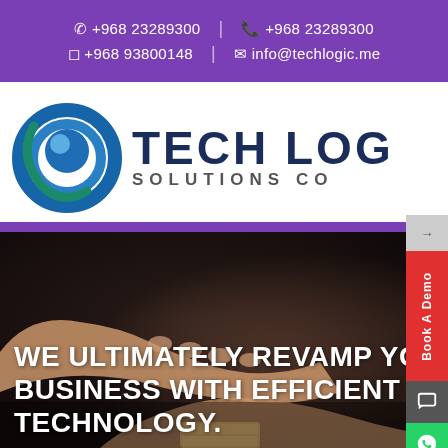☎ +968 23289300 | 🖠 +968 23289300 | 📱 +968 93800148 | ✉ info@techlogic.me
[Figure (logo): Tech Logic Solutions Co. logo with circular blue swirl icon and dark blue text]
[Figure (photo): Close-up of hands holding a wooden block, dark moody background, hero section]
WE ULTIMATELY REVAMP YOUR BUSINESS WITH EFFICIENT TECHNOLOGY.